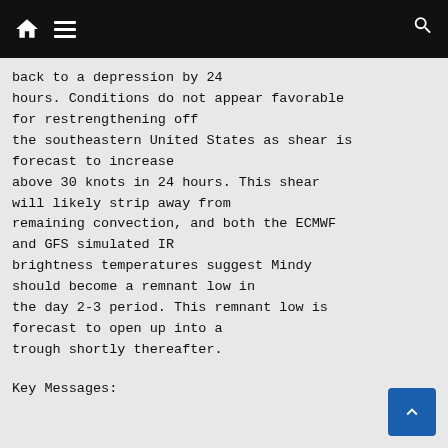[Navigation bar with home, menu, and search icons]
back to a depression by 24 hours. Conditions do not appear favorable for restrengthening off the southeastern United States as shear is forecast to increase above 30 knots in 24 hours. This shear will likely strip away from remaining convection, and both the ECMWF and GFS simulated IR brightness temperatures suggest Mindy should become a remnant low in the day 2-3 period. This remnant low is forecast to open up into a trough shortly thereafter.
Key Messages: